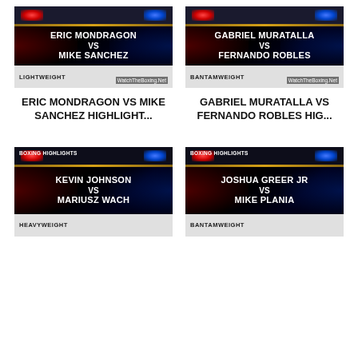[Figure (photo): Boxing highlight thumbnail: ERIC MONDRAGON VS MIKE SANCHEZ, LIGHTWEIGHT, WatchTheBoxing.Net]
[Figure (photo): Boxing highlight thumbnail: GABRIEL MURATALLA VS FERNANDO ROBLES, BANTAMWEIGHT, WatchTheBoxing.Net]
ERIC MONDRAGON VS MIKE SANCHEZ HIGHLIGHT...
GABRIEL MURATALLA VS FERNANDO ROBLES HIG...
[Figure (photo): Boxing highlight thumbnail: KEVIN JOHNSON VS MARIUSZ WACH, HEAVYWEIGHT, BOXING HIGHLIGHTS]
[Figure (photo): Boxing highlight thumbnail: JOSHUA GREER JR VS MIKE PLANIA, BANTAMWEIGHT, BOXING HIGHLIGHTS]